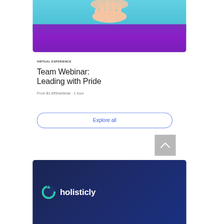[Figure (photo): Cropped hero image showing a hand against a blue and purple gradient background]
VIRTUAL EXPERIENCE
Team Webinar: Leading with Pride
From $1,495/webinar · 1 hour
[Figure (other): Explore all button with blue border and blue text]
[Figure (other): Scroll to top button - grey square with upward chevron]
[Figure (logo): Holisticly logo on dark navy background - teal circular arrow icon with white text 'holisticly']